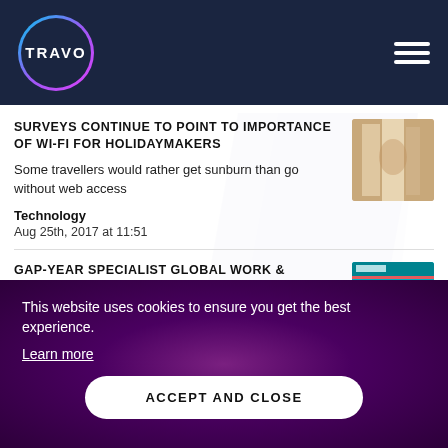TRAVO
SURVEYS CONTINUE TO POINT TO IMPORTANCE OF WI-FI FOR HOLIDAYMAKERS
Some travellers would rather get sunburn than go without web access
Technology
Aug 25th, 2017 at 11:51
[Figure (photo): Photo thumbnail - person near window with sunlight]
GAP-YEAR SPECIALIST GLOBAL WORK & TRAVEL LAUNCHES SOCIAL HUB FOR CUSTOMERS
[Figure (screenshot): Screenshot thumbnail - website interface]
This website uses cookies to ensure you get the best experience.
Learn more
ACCEPT AND CLOSE